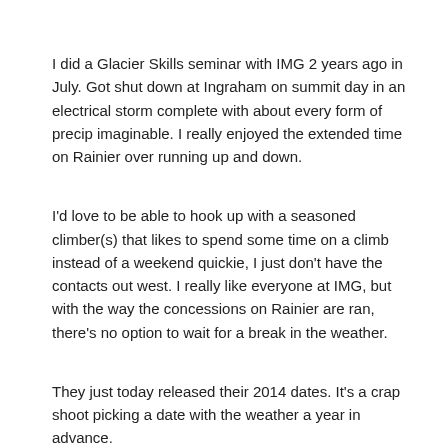I did a Glacier Skills seminar with IMG 2 years ago in July. Got shut down at Ingraham on summit day in an electrical storm complete with about every form of precip imaginable. I really enjoyed the extended time on Rainier over running up and down.
I'd love to be able to hook up with a seasoned climber(s) that likes to spend some time on a climb instead of a weekend quickie, I just don't have the contacts out west. I really like everyone at IMG, but with the way the concessions on Rainier are ran, there's no option to wait for a break in the weather.
They just today released their 2014 dates. It's a crap shoot picking a date with the weather a year in advance.
I'm open to climb just about anything. Rainier has just been a thorn in my side and I won't be satisfied until I finish it.